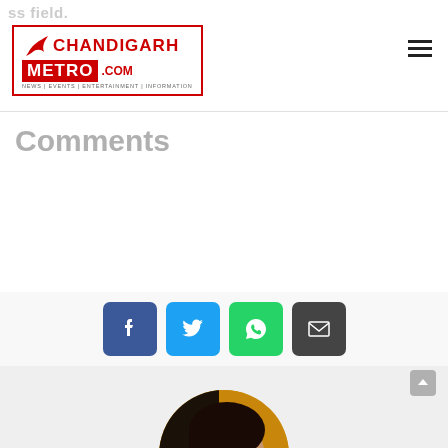Chandigarh Metro .com — NEWS | EVENTS | ENTERTAINMENT | INFORMATION
Comments
[Figure (infographic): Social share buttons: Facebook (blue), Twitter (light blue), WhatsApp (green), Email (dark grey)]
[Figure (photo): Circular portrait photo of Gurjit Kaur, a young woman with dark hair, against a yellow background]
Gurjit Kaur
Gurjit Kaur is a young and vibrant writer, who is passionate about media. Having done her MBA in media management, Gurjit loves to weave words